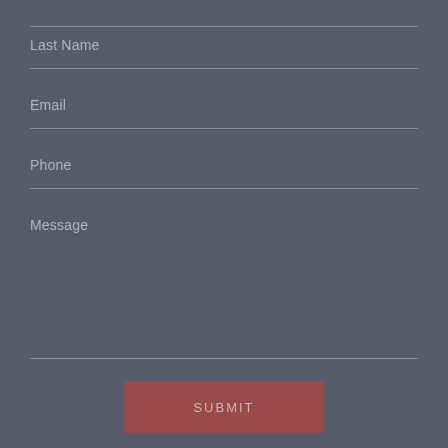Last Name
Email
Phone
Message
SUBMIT